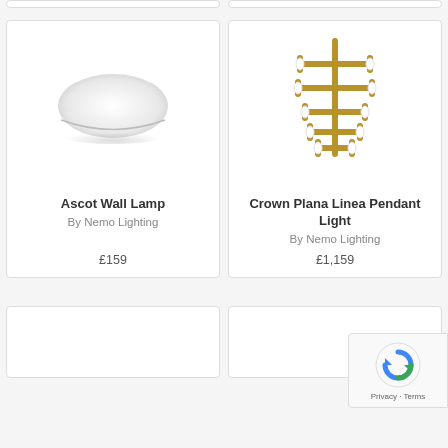[Figure (photo): Top partial card row - two truncated product card tops]
[Figure (photo): Ascot Wall Lamp product image - white oval flush wall lamp]
Ascot Wall Lamp
By Nemo Lighting
£159
[Figure (photo): Crown Plana Linea Pendant Light product image - gold branching pendant light]
Crown Plana Linea Pendant Light
By Nemo Lighting
£1,159
[Figure (photo): Bottom partial product cards - two truncated cards at bottom]
[Figure (logo): reCAPTCHA logo overlay with Privacy and Terms text]